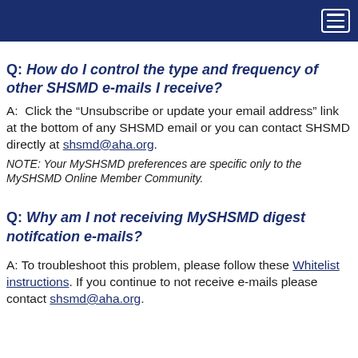(navigation header bar with hamburger menu)
Q: How do I control the type and frequency of other SHSMD e-mails I receive?
A:  Click the “Unsubscribe or update your email address” link at the bottom of any SHSMD email or you can contact SHSMD directly at shsmd@aha.org.
NOTE: Your MySHSMD preferences are specific only to the MySHSMD Online Member Community.
Q: Why am I not receiving MySHSMD digest notifcation e-mails?
A: To troubleshoot this problem, please follow these Whitelist instructions. If you continue to not receive e-mails please contact shsmd@aha.org.